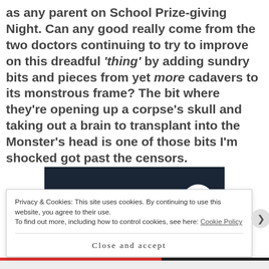as any parent on School Prize-giving Night. Can any good really come from the two doctors continuing to try to improve on this dreadful 'thing' by adding sundry bits and pieces from yet more cadavers to its monstrous frame? The bit where they're opening up a corpse's skull and taking out a brain to transplant into the Monster's head is one of those bits I'm shocked got past the censors.
[Figure (screenshot): Dark banner advertisement showing a pink 'Start a survey' button on the left and a circular Crowdsignal logo on the right against a dark navy background.]
Privacy & Cookies: This site uses cookies. By continuing to use this website, you agree to their use. To find out more, including how to control cookies, see here: Cookie Policy
Close and accept